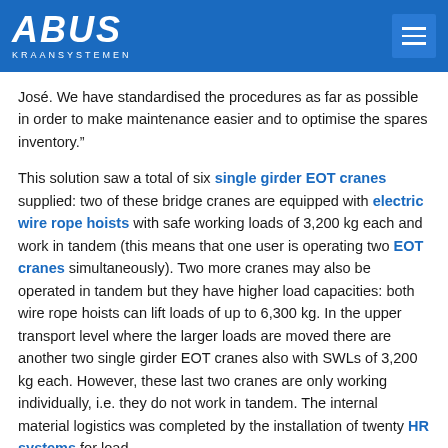ABUS KRAANSYSTEMEN
José. We have standardised the procedures as far as possible in order to make maintenance easier and to optimise the spares inventory.”

This solution saw a total of six single girder EOT cranes supplied: two of these bridge cranes are equipped with electric wire rope hoists with safe working loads of 3,200 kg each and work in tandem (this means that one user is operating two EOT cranes simultaneously). Two more cranes may also be operated in tandem but they have higher load capacities: both wire rope hoists can lift loads of up to 6,300 kg. In the upper transport level where the larger loads are moved there are another two single girder EOT cranes also with SWLs of 3,200 kg each. However, these last two cranes are only working individually, i.e. they do not work in tandem. The internal material logistics was completed by the installation of twenty HR systems for load